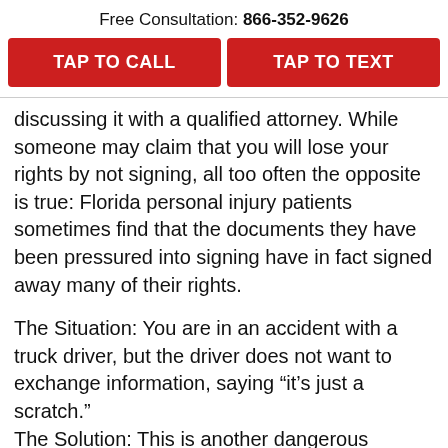Free Consultation: 866-352-9626
TAP TO CALL
TAP TO TEXT
discussing it with a qualified attorney. While someone may claim that you will lose your rights by not signing, all too often the opposite is true: Florida personal injury patients sometimes find that the documents they have been pressured into signing have in fact signed away many of their rights.
The Situation: You are in an accident with a truck driver, but the driver does not want to exchange information, saying “it’s just a scratch.”
The Solution: This is another dangerous situation in which you may need to be in...